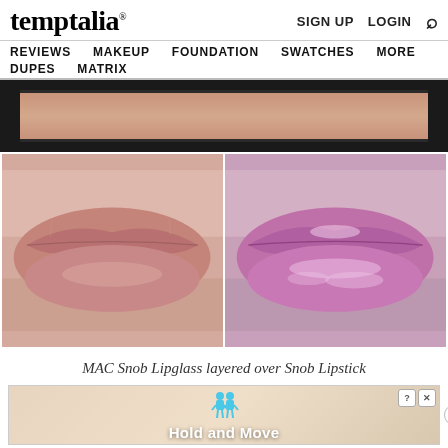temptalia® | SIGN UP  LOGIN  🔍
REVIEWS  MAKEUP  FOUNDATION  SWATCHES  MORE  DUPES  MATRIX
[Figure (photo): Cropped close-up photo of a person's chin/lower face area against dark background]
[Figure (photo): Side-by-side before/after close-up photos of lips: left shows bare/natural lips, right shows lips covered in MAC Snob Lipglass layered over Snob Lipstick (pink/mauve shade)]
MAC Snob Lipglass layered over Snob Lipstick
[Figure (screenshot): Advertisement banner with cartoon figures and text 'Hold and Move', with close and question-mark buttons]